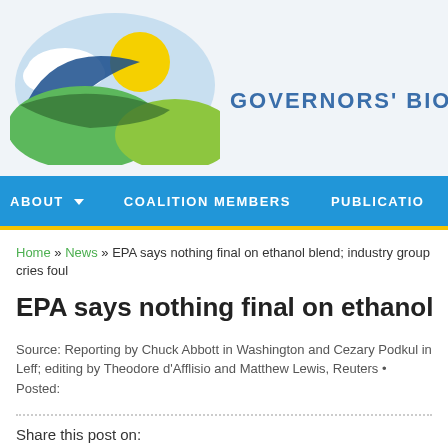[Figure (logo): Governors' Biofuel Coalition logo: stylized sun rising over green hills with cloud, next to organization name text 'GOVERNORS' BIOFUEL' in blue and green letters]
ABOUT  COALITION MEMBERS  PUBLICATIO
Home » News » EPA says nothing final on ethanol blend; industry group cries foul
EPA says nothing final on ethanol blend; industr
Source: Reporting by Chuck Abbott in Washington and Cezary Podkul in Leff; editing by Theodore d'Afflisio and Matthew Lewis, Reuters • Posted:
Share this post on:
Twitter  Facebook  Google+